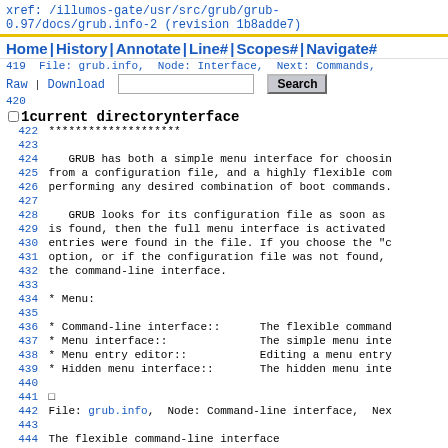xref: /illumos-gate/usr/src/grub/grub-0.97/docs/grub.info-2 (revision 1b8adde7)
Home | History | Annotate | Line# | Scopes# | Navigate#
419  File: grub.info,  Node: Interface,  Next: Commands,
Raw | Download   [search box]   Search
420
1 current directory interface
422  ********************
423
424     GRUB has both a simple menu interface for choosin
425  from a configuration file, and a highly flexible com
426  performing any desired combination of boot commands.
427
428     GRUB looks for its configuration file as soon as
429  is found, then the full menu interface is activated
430  entries were found in the file. If you choose the "c
431  option, or if the configuration file was not found,
432  the command-line interface.
433
434  * Menu:
435
436  * Command-line interface::      The flexible command
437  * Menu interface::              The simple menu inte
438  * Menu entry editor::           Editing a menu entry
439  * Hidden menu interface::       The hidden menu inte
440
441  []
442  File: grub.info,  Node: Command-line interface,  Nex
443
444  The flexible command-line interface